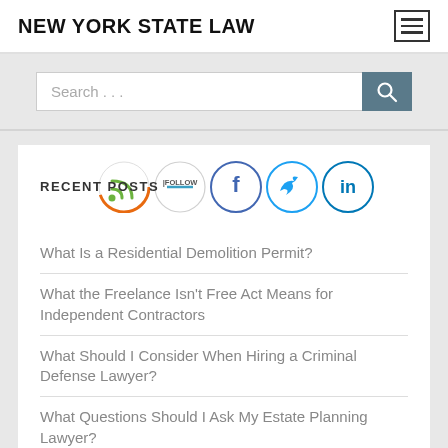NEW YORK STATE LAW
RECENT POSTS
What Is a Residential Demolition Permit?
What the Freelance Isn't Free Act Means for Independent Contractors
What Should I Consider When Hiring a Criminal Defense Lawyer?
What Questions Should I Ask My Estate Planning Lawyer?